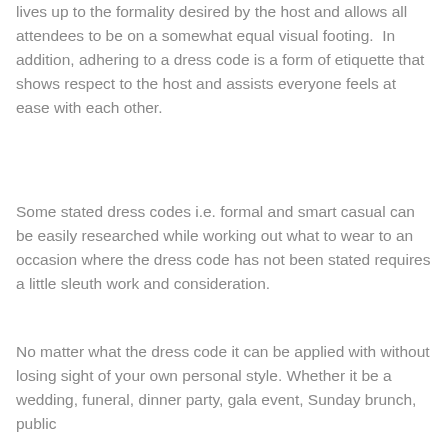lives up to the formality desired by the host and allows all attendees to be on a somewhat equal visual footing.  In addition, adhering to a dress code is a form of etiquette that shows respect to the host and assists everyone feels at ease with each other.
Some stated dress codes i.e. formal and smart casual can be easily researched while working out what to wear to an occasion where the dress code has not been stated requires a little sleuth work and consideration.
No matter what the dress code it can be applied with without losing sight of your own personal style. Whether it be a wedding, funeral, dinner party, gala event, Sunday brunch, public